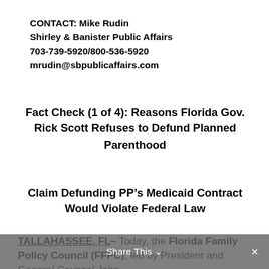CONTACT: Mike Rudin
Shirley & Banister Public Affairs
703-739-5920/800-536-5920
mrudin@sbpublicaffairs.com
Fact Check (1 of 4): Reasons Florida Gov. Rick Scott Refuses to Defund Planned Parenthood
Claim Defunding PP’s Medicaid Contract Would Violate Federal Law
TALLAHASSEE, FL– Today, the Florida Family Policy Council (FFPC), led by President and General Counsel John
Share This ∨